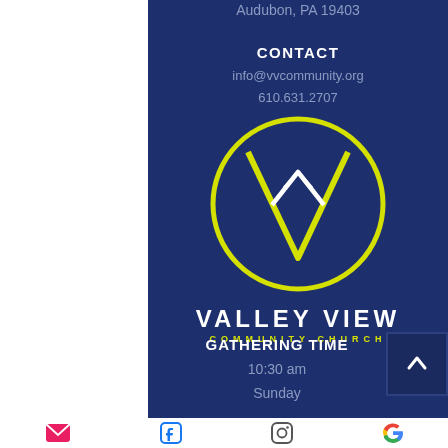Audubon, PA 19403
CONTACT
info@vvcommunity.org
610.631.2707
[Figure (logo): Valley View Community Church logo: yellow circle with stylized V and mountain peak inside, followed by VALLEY VIEW in large white letters and COMMUNITY CHURCH in yellow spaced letters below]
GATHERING TIME
10:30 am
Sunday
[Figure (other): Footer bar with email, Facebook, Instagram, and Google icons]